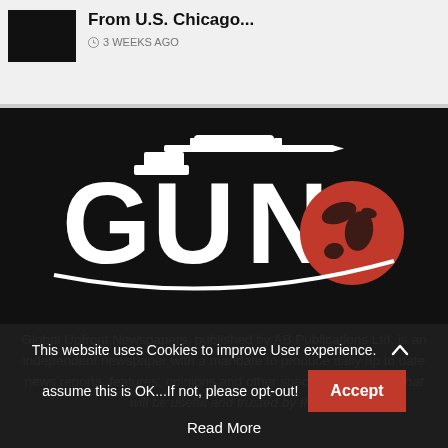From U.S. Chicago...
3 WEEKS AGO
[Figure (logo): GUN (Global Upfront Newspapers) logo: large white letters G, U, N with a rifle/sniper scope graphic on top and a red globe on the right, on a black background]
Global Upfront Newspapers, published by AB Publications Ltd, is an independent newspaper with a mandate to produce daily up to date news reports, features, opinions and other special publications that will be useful and trusted by the
This website uses Cookies to improve User experience. assume this is OK...If not, please opt-out!
Accept
Read More